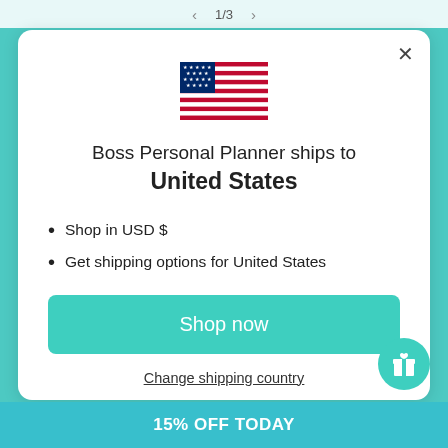1/3
[Figure (illustration): US flag emoji/illustration showing stars and stripes]
Boss Personal Planner ships to United States
Shop in USD $
Get shipping options for United States
Shop now
Change shipping country
15% OFF TODAY